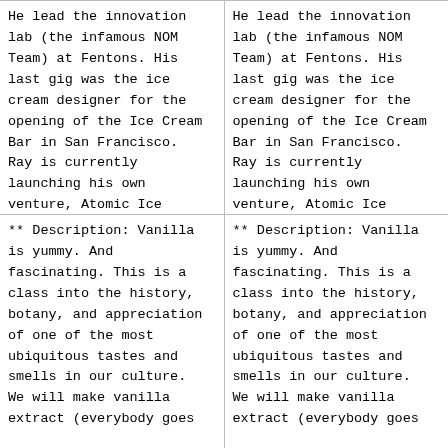He lead the innovation lab (the infamous NOM Team) at Fentons. His last gig was the ice cream designer for the opening of the Ice Cream Bar in San Francisco. Ray is currently launching his own venture, Atomic Ice Cream, and starting a motorcyle gang.
He lead the innovation lab (the infamous NOM Team) at Fentons. His last gig was the ice cream designer for the opening of the Ice Cream Bar in San Francisco. Ray is currently launching his own venture, Atomic Ice Cream, and starting a motorcyle gang.
** Description: Vanilla is yummy. And fascinating. This is a class into the history, botany, and appreciation of one of the most ubiquitous tastes and smells in our culture. We will make vanilla extract (everybody goes
** Description: Vanilla is yummy. And fascinating. This is a class into the history, botany, and appreciation of one of the most ubiquitous tastes and smells in our culture. We will make vanilla extract (everybody goes